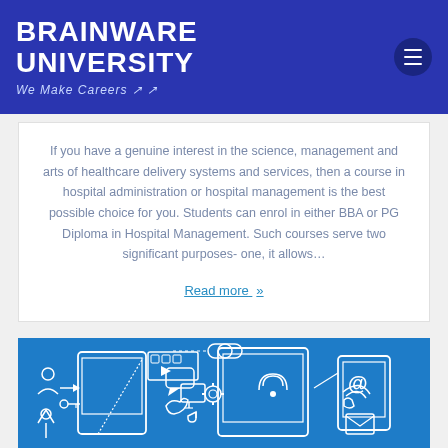BRAINWARE UNIVERSITY — We Make Careers
If you have a genuine interest in the science, management and arts of healthcare delivery systems and services, then a course in hospital administration or hospital management is the best possible choice for you. Students can enrol in either BBA or PG Diploma in Hospital Management. Such courses serve two significant purposes- one, it allows...
Read more »
[Figure (illustration): Blue infographic illustration showing social media and digital communication icons including a bird (Twitter), wifi symbol, phone, email, chain link, chat bubbles, person icons, monitor, film strip, music notes, gears, and mobile devices on a blue background]